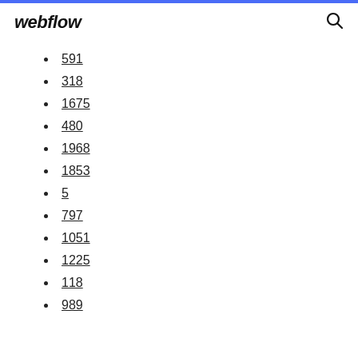webflow
591
318
1675
480
1968
1853
5
797
1051
1225
118
989